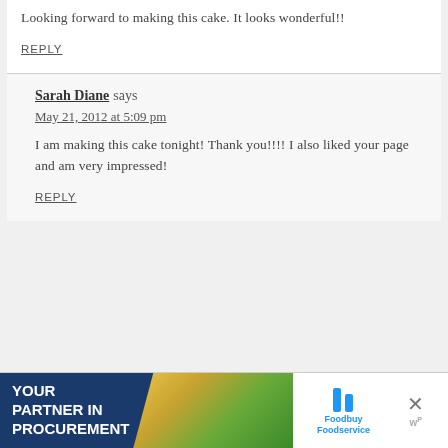Looking forward to making this cake. It looks wonderful!!
REPLY
Sarah Diane says
May 21, 2012 at 5:09 pm
I am making this cake tonight! Thank you!!!! I also liked your page and am very impressed!
REPLY
[Figure (infographic): Advertisement banner: YOUR PARTNER IN PROCUREMENT with Foodbuy Foodservice logo and food image]